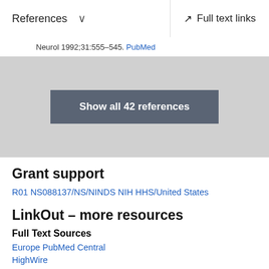References  ∨  Full text links
Neurol 1992;31:555-545. PubMed
Show all 42 references
Grant support
R01 NS088137/NS/NINDS NIH HHS/United States
LinkOut – more resources
Full Text Sources
Europe PubMed Central
HighWire
Ovid Technologies, Inc.